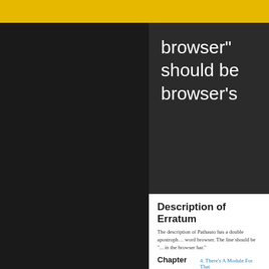browser" should be browser's
Description of Erratum
The description of Pathauto has a double apostrophe after the word browser. The line should be "... in the browser's address bar."
Chapter  4. There's A Module For That
Page  95
Severity